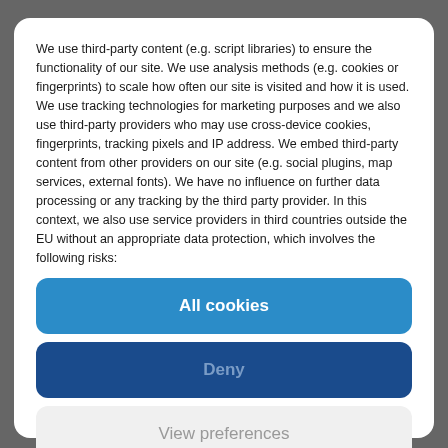We use third-party content (e.g. script libraries) to ensure the functionality of our site. We use analysis methods (e.g. cookies or fingerprints) to scale how often our site is visited and how it is used. We use tracking technologies for marketing purposes and we also use third-party providers who may use cross-device cookies, fingerprints, tracking pixels and IP address. We embed third-party content from other providers on our site (e.g. social plugins, map services, external fonts). We have no influence on further data processing or any tracking by the third party provider. In this context, we also use service providers in third countries outside the EU without an appropriate data protection, which involves the following risks:
All cookies
Deny
View preferences
Cookie policy   Privacy Policy   Imprint